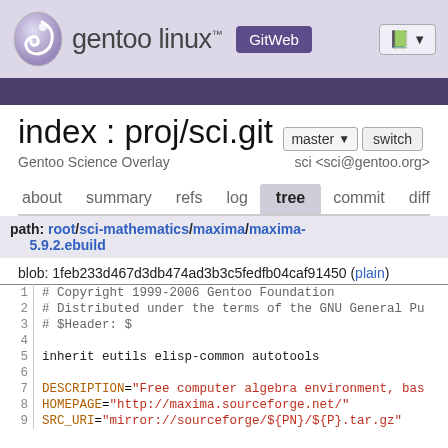gentoo linux GitWeb
index : proj/sci.git
Gentoo Science Overlay    sci <sci@gentoo.org>
about  summary  refs  log  tree  commit  diff
path: root/sci-mathematics/maxima/maxima-5.9.2.ebuild
blob: 1feb233d467d3db474ad3b3c5fedfb04caf91450 (plain)
| line | code |
| --- | --- |
| 1 | # Copyright 1999-2006 Gentoo Foundation |
| 2 | # Distributed under the terms of the GNU General Pu |
| 3 | # $Header: $ |
| 4 |  |
| 5 | inherit eutils elisp-common autotools |
| 6 |  |
| 7 | DESCRIPTION="Free computer algebra environment, bas |
| 8 | HOMEPAGE="http://maxima.sourceforge.net/" |
| 9 | SRC_URI="mirror://sourceforge/${PN}/${P}.tar.gz" |